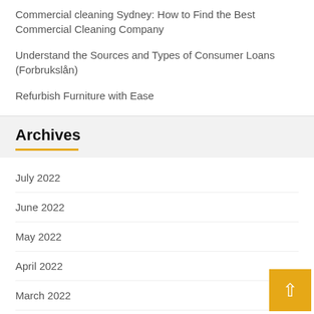Commercial cleaning Sydney: How to Find the Best Commercial Cleaning Company
Understand the Sources and Types of Consumer Loans (Forbrukslån)
Refurbish Furniture with Ease
Archives
July 2022
June 2022
May 2022
April 2022
March 2022
February 2022